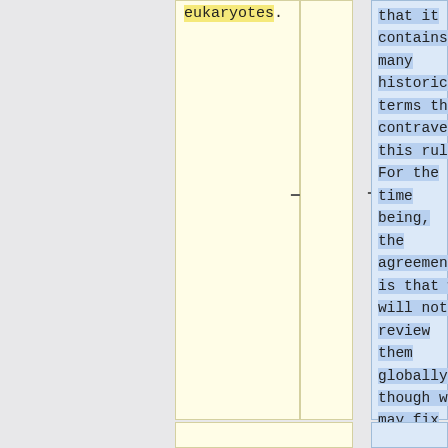eukaryotes.
that it contains many historic terms that contravene this rule. For the time being, the agreement is that we will not review them globally, though we may fix them if and when we come across them.)